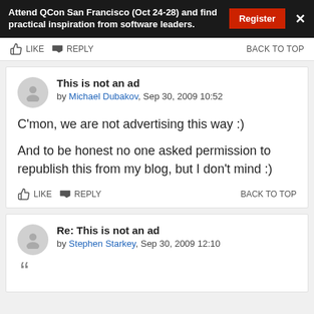Attend QCon San Francisco (Oct 24-28) and find practical inspiration from software leaders. [Register] [X]
LIKE  REPLY  BACK TO TOP
This is not an ad
by Michael Dubakov, Sep 30, 2009 10:52
C'mon, we are not advertising this way :)
And to be honest no one asked permission to republish this from my blog, but I don't mind :)
LIKE  REPLY  BACK TO TOP
Re: This is not an ad
by Stephen Starkey, Sep 30, 2009 12:10